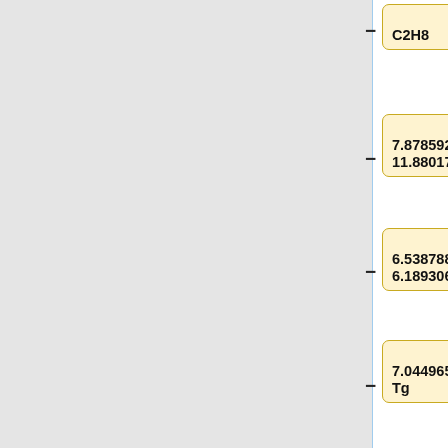[Figure (flowchart): A diff/comparison flowchart showing entries with yellow boxes on the left (removed items with minus signs) and blue boxes on the right (added items with plus signs). Entries include: C2H6/C2H8, Xiao 7.878592 11.88017 Tg, CEDS 6.538788 6.189306 Tg, Tzompa 7.044965 - Tg, (empty), """Emily Fischer wrote:""", (empty), :Given these maps and totals, I think]